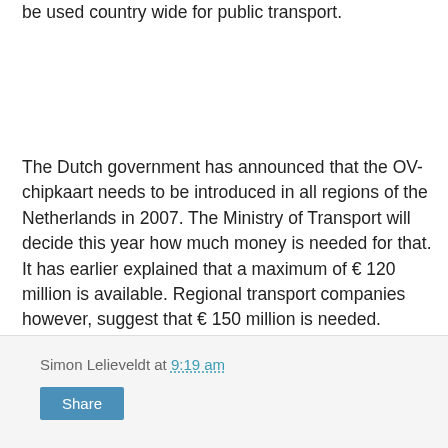be used country wide for public transport.
The Dutch government has announced that the OV-chipkaart needs to be introduced in all regions of the Netherlands in 2007. The Ministry of Transport will decide this year how much money is needed for that. It has earlier explained that a maximum of € 120 million is available. Regional transport companies however, suggest that € 150 million is needed.
Next year, more than 10 trials will run, that will be evaluated in 2005. Operator of the system is Trans Link Systems.
Simon Lelieveldt at 9:19 am
Share